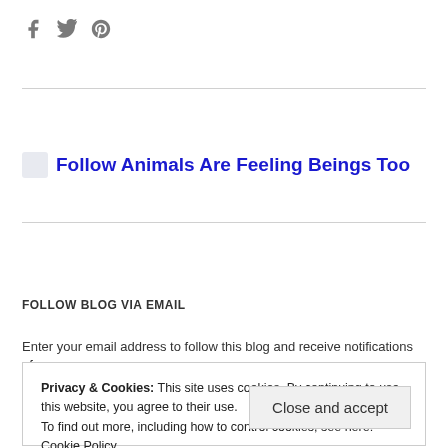[Figure (other): Social media icons: Facebook, Twitter, Pinterest in gray]
Follow Animals Are Feeling Beings Too
FOLLOW BLOG VIA EMAIL
Enter your email address to follow this blog and receive notifications of
Privacy & Cookies: This site uses cookies. By continuing to use this website, you agree to their use.
To find out more, including how to control cookies, see here: Cookie Policy
Close and accept